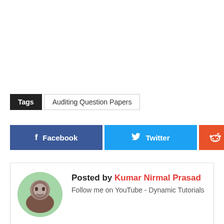Tags  Auditing Question Papers
[Figure (infographic): Social share buttons: Facebook, Twitter, Reddit, Email, More]
Posted by Kumar Nirmal Prasad
Follow me on YouTube - Dynamic Tutorials